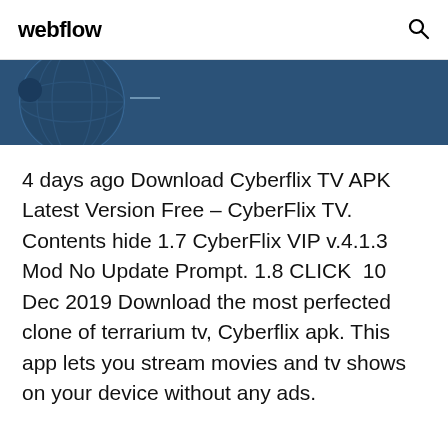webflow
[Figure (illustration): Dark blue banner with partial globe/earth illustration in the top-left corner]
4 days ago Download Cyberflix TV APK Latest Version Free – CyberFlix TV. Contents hide 1.7 CyberFlix VIP v.4.1.3 Mod No Update Prompt. 1.8 CLICK  10 Dec 2019 Download the most perfected clone of terrarium tv, Cyberflix apk. This app lets you stream movies and tv shows on your device without any ads.